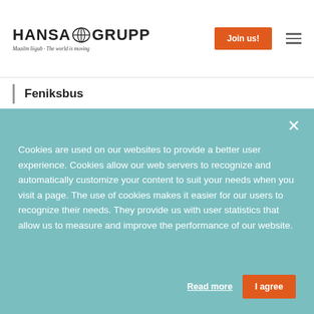[Figure (logo): Hansa Grupp logo with globe icon and tagline 'Maailm liigub · The world is moving']
Feniksbus
Cookies are used on our websites to provide a better user experience. Cookies allow our web servers to recognize and automatically customize your content to suit your needs when you visit a page. The use of cookies makes it easier for our users to recognize their needs. They provide us with user statistics that allow us to measure and improve the performance of our website.
Read more
I agree